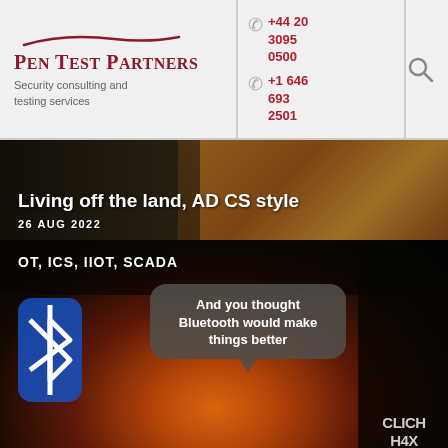[Figure (logo): Pen Test Partners logo with swoosh above text, tagline 'Security consulting and testing services']
+44 20 3095 0500
+1 646 693 2501
[Figure (other): Search icon and hamburger menu icon]
Living off the land, AD CS style
26 AUG 2022
OT, ICS, IIOT, SCADA
[Figure (illustration): Industrial explosion image with Bluetooth symbol on left, person in hoodie on right, speech bubble reading 'And you thought Bluetooth would make things better']